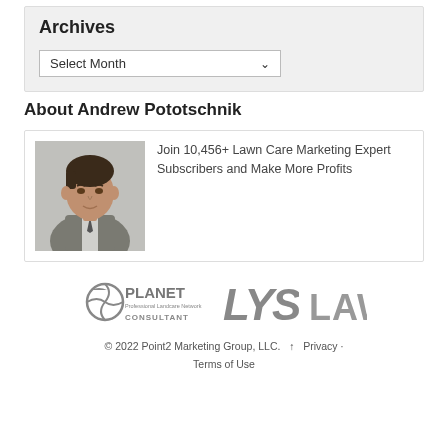Archives
Select Month
About Andrew Pototschnik
[Figure (photo): Headshot photo of Andrew Pototschnik, a man in a suit]
Join 10,456+ Lawn Care Marketing Expert Subscribers and Make More Profits
[Figure (logo): PLANET Professional Landcare Network Consultant logo (grayscale)]
[Figure (logo): LYS logo (grayscale)]
[Figure (logo): LAWN logo partial (grayscale)]
© 2022 Point2 Marketing Group, LLC.  ↑  Privacy · Terms of Use